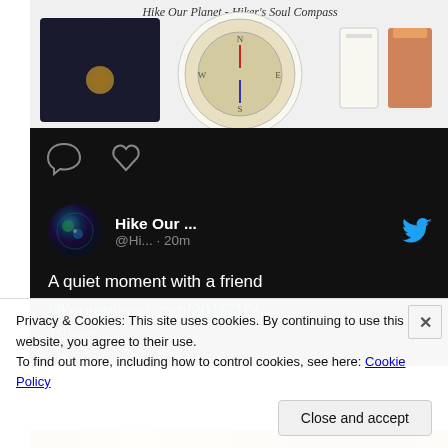[Figure (screenshot): Product images for Hike Our Planet - Hiker's Soul Compass merchandise including a dark hoodie, a compass plate/dish, and two cups/glasses with beverage]
[Figure (screenshot): Social media action icons bar: comment bubble and heart/like icons on black background]
[Figure (screenshot): Twitter/X post card on black background: avatar of earth/globe, username Hike Our ... @Hi... · 20m, with Twitter bird logo. Tweet text: A quiet moment with a friend hikeourplanet.com/2015/10/19/a-q...]
Privacy & Cookies: This site uses cookies. By continuing to use this website, you agree to their use.
To find out more, including how to control cookies, see here: Cookie Policy
Close and accept